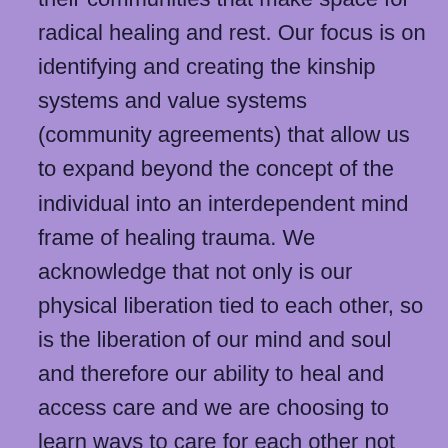their communities that make space for radical healing and rest. Our focus is on identifying and creating the kinship systems and value systems (community agreements) that allow us to expand beyond the concept of the individual into an interdependent mind frame of healing trauma. We acknowledge that not only is our physical liberation tied to each other, so is the liberation of our mind and soul and therefore our ability to heal and access care and we are choosing to learn ways to care for each other not just collectively but radically. We do so by working towards healing our